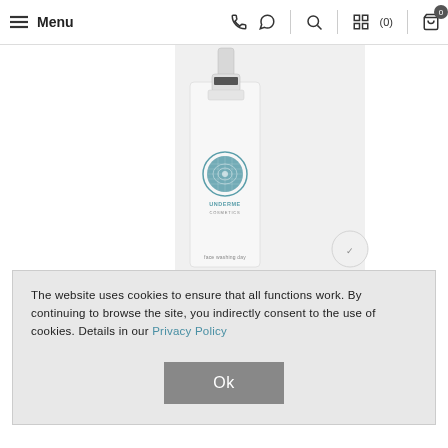≡ Menu  (phone) (whatsapp) (search) | (compare) (0) | (cart) 0
[Figure (photo): A white cosmetic pump bottle labeled 'UNDERME COSMETICS - face washing day' with a silver pump dispenser, on a light gray background.]
The website uses cookies to ensure that all functions work. By continuing to browse the site, you indirectly consent to the use of cookies. Details in our Privacy Policy
Ok